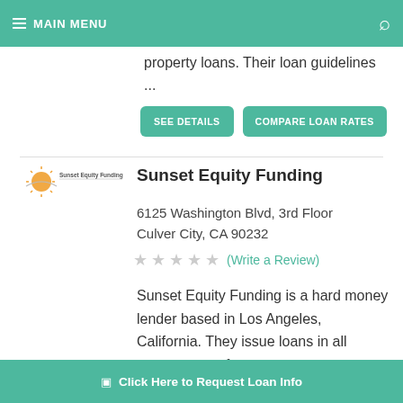MAIN MENU
property loans. Their loan guidelines ...
SEE DETAILS | COMPARE LOAN RATES
Sunset Equity Funding
6125 Washington Blvd, 3rd Floor
Culver City, CA 90232
(Write a Review)
Sunset Equity Funding is a hard money lender based in Los Angeles, California. They issue loans in all states except for ...outh
Click Here to Request Loan Info